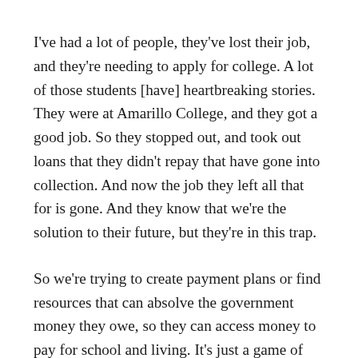I've had a lot of people, they've lost their job, and they're needing to apply for college. A lot of those students [have] heartbreaking stories. They were at Amarillo College, and they got a good job. So they stopped out, and took out loans that they didn't repay that have gone into collection. And now the job they left all that for is gone. And they know that we're the solution to their future, but they're in this trap.
So we're trying to create payment plans or find resources that can absolve the government money they owe, so they can access money to pay for school and living. It's just a game of whack-a-mole in so many ways. Solving one need identifies seven other things that they're needing.